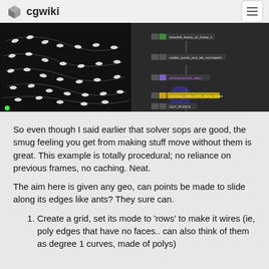cgwiki
[Figure (screenshot): Split screenshot showing 3D animation of white bead-like objects on dark curved lines on the left, and a Houdini node graph on the right with nodes: timeshift_freeze_on_frame_1, scatter_points_and_set_sourceprim, attribrandomize_delta, pointloop_slide_points_along_edges (highlighted in yellow), OUT_POINTS]
So even though I said earlier that solver sops are good, the smug feeling you get from making stuff move without them is great. This example is totally procedural; no reliance on previous frames, no caching. Neat.
The aim here is given any geo, can points be made to slide along its edges like ants? They sure can.
Create a grid, set its mode to 'rows' to make it wires (ie, poly edges that have no faces.. can also think of them as degree 1 curves, made of polys)